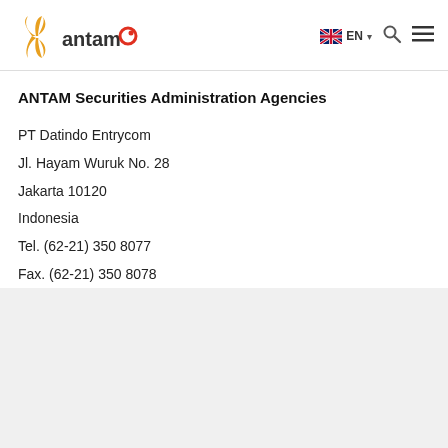ANTAM EN
ANTAM Securities Administration Agencies
PT Datindo Entrycom
Jl. Hayam Wuruk No. 28
Jakarta 10120
Indonesia
Tel. (62-21) 350 8077
Fax. (62-21) 350 8078
E-mail: corporatesecretary@datindo.com
www.datindo.com